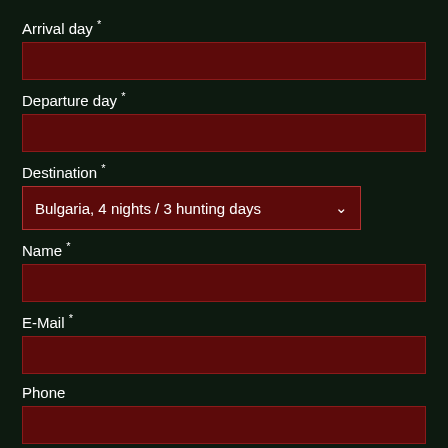Arrival day *
Departure day *
Destination *
Bulgaria, 4 nights / 3 hunting days
Name *
E-Mail *
Phone
Kind of h... *